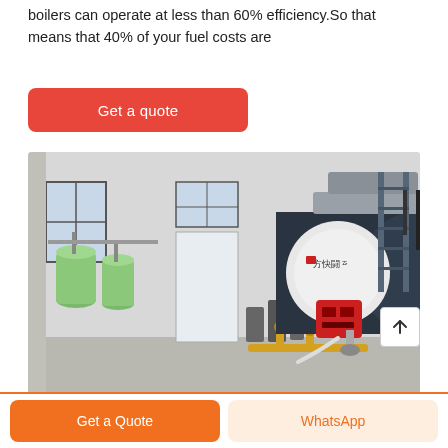boilers can operate at less than 60% efficiency.So that means that 40% of your fuel costs are
[Figure (other): Red 'Get a quote' button with rounded corners on white background]
[Figure (photo): Industrial boiler room with large dark cylindrical boiler unit branded with Chinese text, red burner attachment, yellow gas pipes, green water softener tanks, and pumping equipment in a white-walled facility with windows]
[Figure (other): Scroll-to-top button with upward arrow icon]
Get a Quote
WhatsApp